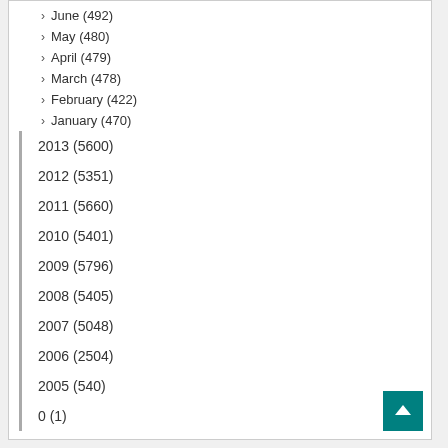June (492)
May (480)
April (479)
March (478)
February (422)
January (470)
2013 (5600)
2012 (5351)
2011 (5660)
2010 (5401)
2009 (5796)
2008 (5405)
2007 (5048)
2006 (2504)
2005 (540)
0 (1)